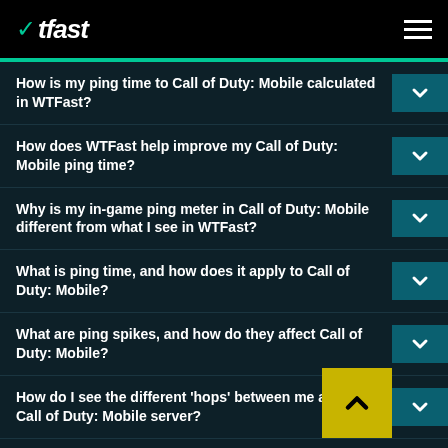WTFast
How is my ping time to Call of Duty: Mobile calculated in WTFast?
How does WTFast help improve my Call of Duty: Mobile ping time?
Why is my in-game ping meter in Call of Duty: Mobile different from what I see in WTFast?
What is ping time, and how does it apply to Call of Duty: Mobile?
What are ping spikes, and how do they affect Call of Duty: Mobile?
How do I see the different 'hops' between me and the Call of Duty: Mobile server?
How do I fix Call of Duty: Mobile ping spikes?